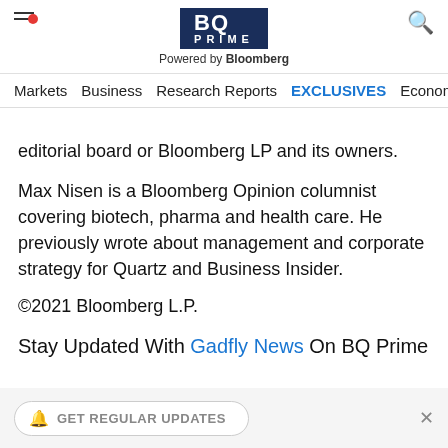BQ PRIME — Powered by Bloomberg — Markets | Business | Research Reports | EXCLUSIVES | Economy
editorial board or Bloomberg LP and its owners.
Max Nisen is a Bloomberg Opinion columnist covering biotech, pharma and health care. He previously wrote about management and corporate strategy for Quartz and Business Insider.
©2021 Bloomberg L.P.
Stay Updated With Gadfly News On BQ Prime
GET REGULAR UPDATES